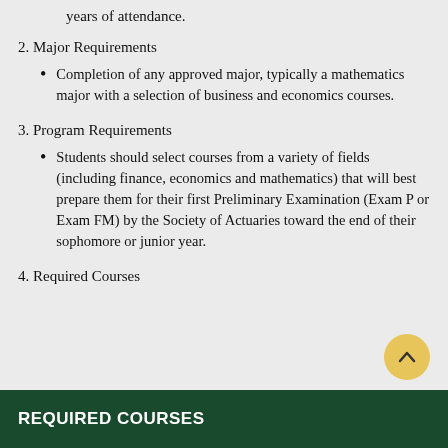years of attendance.
2. Major Requirements
Completion of any approved major, typically a mathematics major with a selection of business and economics courses.
3. Program Requirements
Students should select courses from a variety of fields (including finance, economics and mathematics) that will best prepare them for their first Preliminary Examination (Exam P or Exam FM) by the Society of Actuaries toward the end of their sophomore or junior year.
4. Required Courses
REQUIRED COURSES